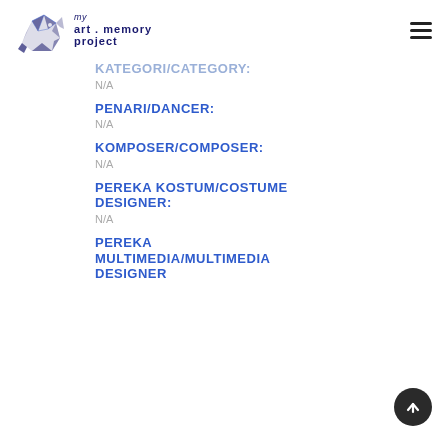my art memory project
KATEGORI/CATEGORY:
N/A
PENARI/DANCER:
N/A
KOMPOSER/COMPOSER:
N/A
PEREKA KOSTUM/COSTUME DESIGNER:
N/A
PEREKA MULTIMEDIA/MULTIMEDIA DESIGNER: